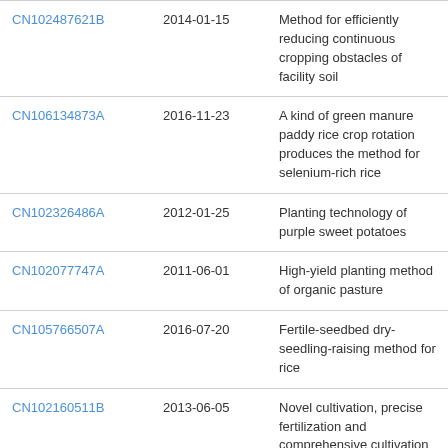| CN102487621B | 2014-01-15 | Method for efficiently reducing continuous cropping obstacles of facility soil |
| CN106134873A | 2016-11-23 | A kind of green manure paddy rice crop rotation produces the method for selenium-rich rice |
| CN102326486A | 2012-01-25 | Planting technology of purple sweet potatoes |
| CN102077747A | 2011-06-01 | High-yield planting method of organic pasture |
| CN105766507A | 2016-07-20 | Fertile-seedbed dry-seedling-raising method for rice |
| CN102160511B | 2013-06-05 | Novel cultivation, precise fertilization and comprehensive cultivation method for single cropping rice |
| CN106561363A | 2017-04-19 | Planting method of non- |